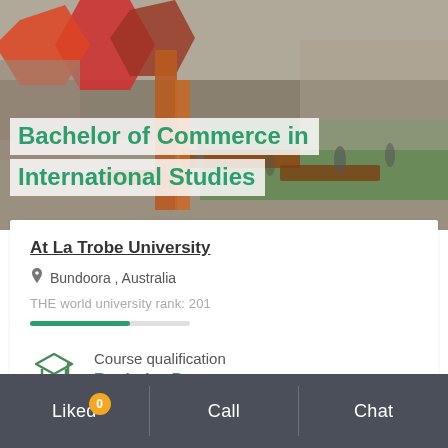[Figure (photo): Aerial/courtyard view of La Trobe University campus with students sitting on wooden benches and modern architectural structures with red/orange geometric shapes]
Bachelor of Commerce in International Studies
At La Trobe University
Bundoora , Australia
THE world university rank: 201
Course qualification
Bachelor Degree
Liked 0   Call   Chat